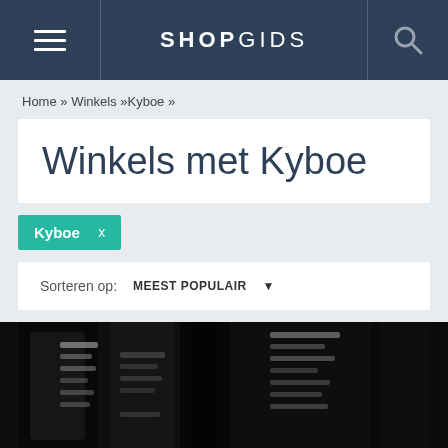SHOPGIDS
Home » Winkels »Kyboe »
Winkels met Kyboe
Kyboe  x
Sorteren op: MEEST POPULAIR ▾
[Figure (photo): Blurred close-up image of black and white signage or watch display, partially visible at bottom of page]